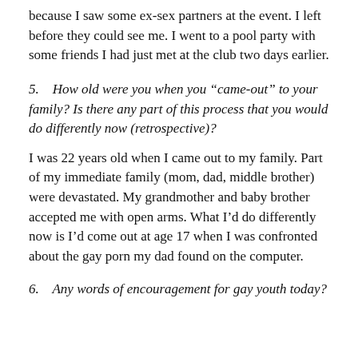because I saw some ex-sex partners at the event. I left before they could see me. I went to a pool party with some friends I had just met at the club two days earlier.
5.   How old were you when you “came-out” to your family? Is there any part of this process that you would do differently now (retrospective)?
I was 22 years old when I came out to my family. Part of my immediate family (mom, dad, middle brother) were devastated. My grandmother and baby brother accepted me with open arms. What I’d do differently now is I’d come out at age 17 when I was confronted about the gay porn my dad found on the computer.
6.   Any words of encouragement for gay youth today?